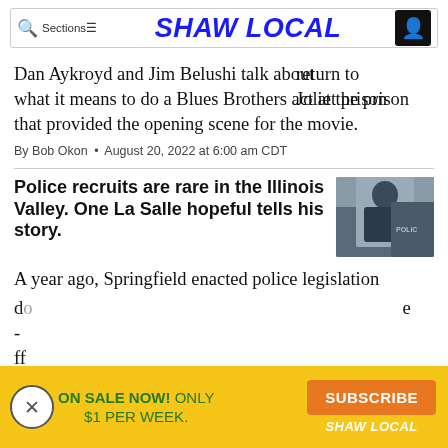SHAW LOCAL
Dan Aykroyd and Jim Belushi talk about return to Joliet prison what it means to do a Blues Brothers act at the prison that provided the opening scene for the movie.
By Bob Okon • August 20, 2022 at 6:00 am CDT
Police recruits are rare in the Illinois Valley. One La Salle hopeful tells his story.
[Figure (photo): Man in dark shirt standing with arms crossed in front of a police vehicle]
A year ago, Springfield enacted police legislation
ON SALE NOW! ONLY $1 PER WEEK. SUBSCRIBE SHAW LOCAL